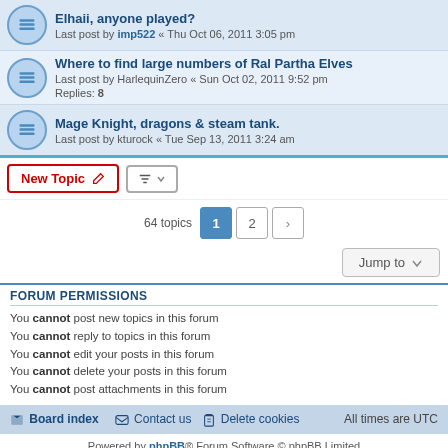Elhaii, anyone played? Last post by imp522 « Thu Oct 06, 2011 3:05 pm
Where to find large numbers of Ral Partha Elves Last post by HarlequinZero « Sun Oct 02, 2011 9:52 pm Replies: 8
Mage Knight, dragons & steam tank. Last post by kturock « Tue Sep 13, 2011 3:24 am
64 topics  1  2  >
Jump to
FORUM PERMISSIONS
You cannot post new topics in this forum
You cannot reply to topics in this forum
You cannot edit your posts in this forum
You cannot delete your posts in this forum
You cannot post attachments in this forum
Board index   Contact us   Delete cookies   All times are UTC
Powered by phpBB® Forum Software © phpBB Limited
Privacy | Terms
Time: 0.055s | Queries: 13 | Peak Memory Usage: 5.61 MiB